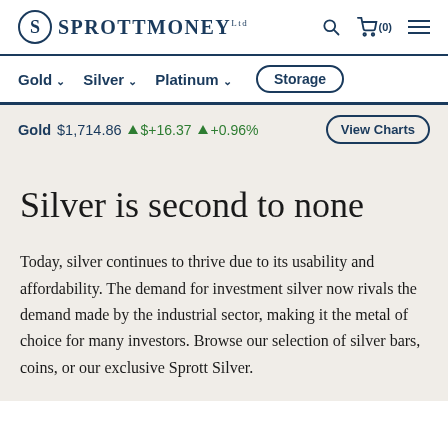SPROTT MONEY
Gold ∨   Silver ∨   Platinum ∨   Storage
Gold $1,714.86 ▲ $+16.37 ▲ +0.96%   View Charts
Silver is second to none
Today, silver continues to thrive due to its usability and affordability. The demand for investment silver now rivals the demand made by the industrial sector, making it the metal of choice for many investors. Browse our selection of silver bars, coins, or our exclusive Sprott Silver.